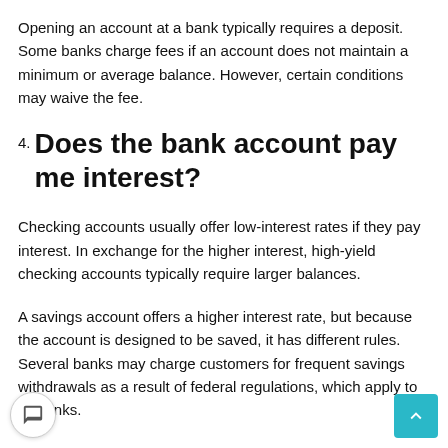Opening an account at a bank typically requires a deposit. Some banks charge fees if an account does not maintain a minimum or average balance. However, certain conditions may waive the fee.
4. Does the bank account pay me interest?
Checking accounts usually offer low-interest rates if they pay interest. In exchange for the higher interest, high-yield checking accounts typically require larger balances.
A savings account offers a higher interest rate, but because the account is designed to be saved, it has different rules. Several banks may charge customers for frequent savings withdrawals as a result of federal regulations, which apply to all banks.